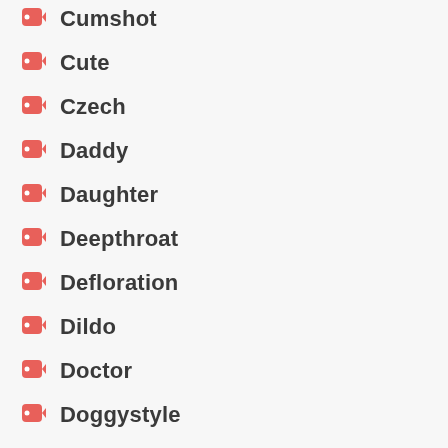Cumshot
Cute
Czech
Daddy
Daughter
Deepthroat
Defloration
Dildo
Doctor
Doggystyle
Doll
Domination
Double Penetration